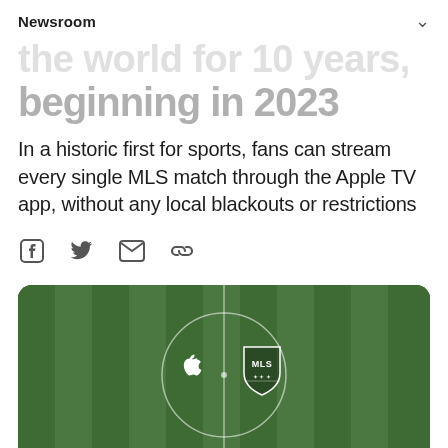Newsroom
the world for 10 years, beginning in 2023
In a historic first for sports, fans can stream every single MLS match through the Apple TV app, without any local blackouts or restrictions
[Figure (infographic): Social sharing icons: Facebook, Twitter, Email, Link]
[Figure (photo): Aerial view of a soccer field with alternating green stripes, featuring a center circle with Apple logo on the left and MLS shield logo on the right, both in white.]